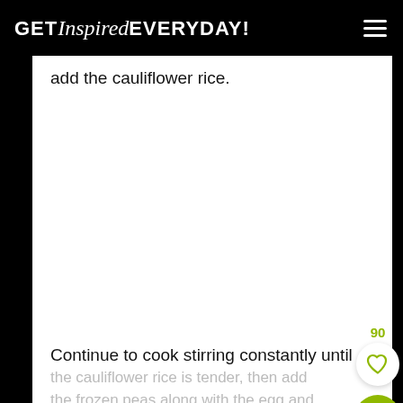GET Inspired EVERYDAY!
add the cauliflower rice.
Continue to cook stirring constantly until
the cauliflower rice is tender, then add the frozen peas along with the egg and